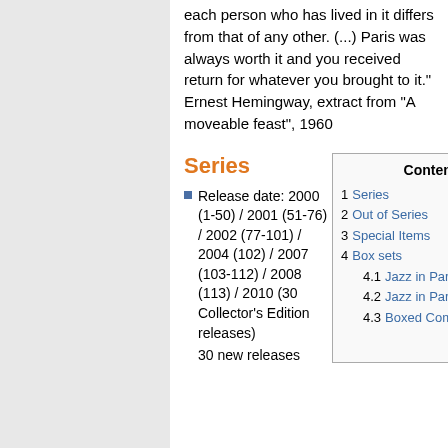each person who has lived in it differs from that of any other. (...) Paris was always worth it and you received return for whatever you brought to it." Ernest Hemingway, extract from "A moveable feast", 1960
Series
Release date: 2000 (1-50) / 2001 (51-76) / 2002 (77-101) / 2004 (102) / 2007 (103-112) / 2008 (113) / 2010 (30 Collector's Edition releases)
30 new releases
| # | Contents |  |
| --- | --- | --- |
| 1 | Series |  |
| 2 | Out of Series |  |
| 3 | Special Items |  |
| 4 | Box sets |  |
| 4.1 | Jazz in Paris (Volumes 1-76) |  |
| 4.2 | Jazz in Paris (Volumes 77-101) |  |
| 4.3 | Boxed Compilation Sets |  |